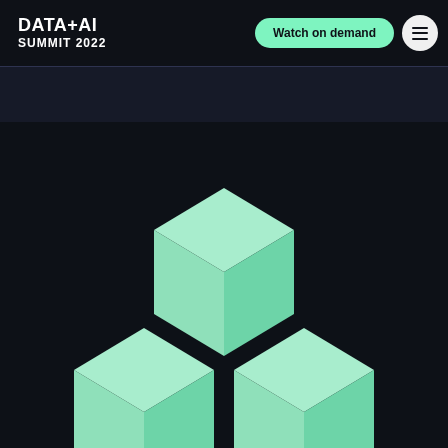DATA+AI SUMMIT 2022 | Watch on demand
[Figure (illustration): 3D isometric illustration of three mint-green cubes arranged in a triangular cluster on a dark navy background. One cube sits on top centered, and two cubes are positioned below left and right, forming a pyramid/triangle shape.]